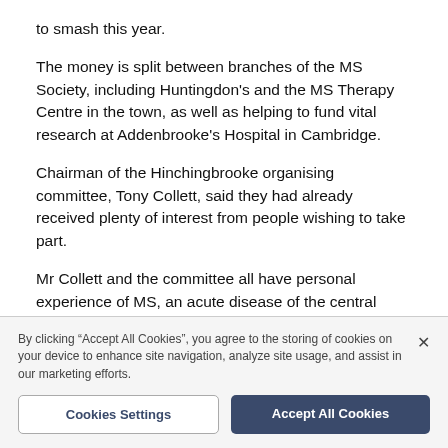to smash this year.
The money is split between branches of the MS Society, including Huntingdon's and the MS Therapy Centre in the town, as well as helping to fund vital research at Addenbrooke's Hospital in Cambridge.
Chairman of the Hinchingbrooke organising committee, Tony Collett, said they had already received plenty of interest from people wishing to take part.
Mr Collett and the committee all have personal experience of MS, an acute disease of the central
By clicking “Accept All Cookies”, you agree to the storing of cookies on your device to enhance site navigation, analyze site usage, and assist in our marketing efforts.
Cookies Settings
Accept All Cookies